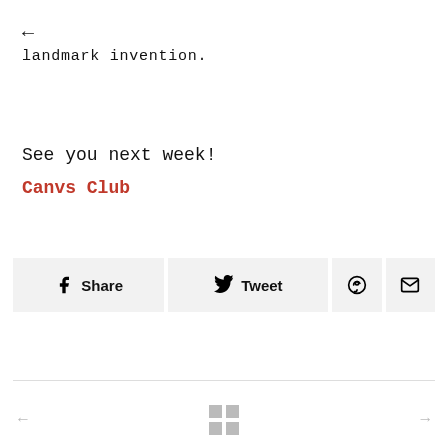←
landmark invention.
See you next week!
Canvs Club
Share  Tweet  Pinterest  Mail
← □□ →